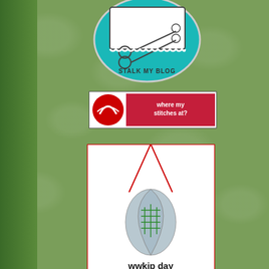[Figure (illustration): Stalk My Blog circular teal badge with scissors and text]
[Figure (illustration): Where my stitches at? badge - red and white with knitting logo]
[Figure (illustration): wwkip day badge - pendant necklace with cross-stitch pattern]
[Figure (illustration): Rockin Girl Blogger pink rounded button badge with star]
[Figure (illustration): Blue wave/snake decorative element]
[Figure (illustration): I am a proud Cast On badgewhore badge]
some handmade by me, some lived all over the world and places to hang on the tree. ornaments that were on my WWII). I'm hoping to get ou
Remark from Bonnie H. —
Sorry. Comments are closed on t
RSS feed for comments on thi